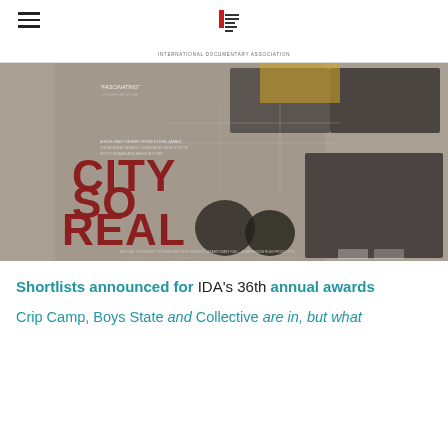International Documentary Association
[Figure (photo): Movie poster for 'City So Real' - a five-part series film by Steve James, showing the title in large red letters with black and white documentary-style photos of Chicago city life and people, produced by National Geographic Documentary Films]
Shortlists announced for IDA's 36th annual awards
Crip Camp, Boys State and Collective are in, but what